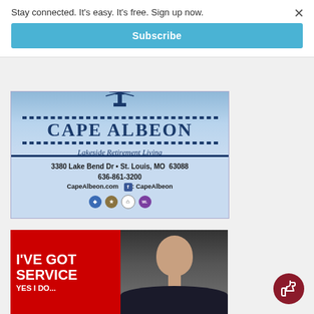Stay connected. It's easy. It's free. Sign up now.
Subscribe
[Figure (illustration): Cape Albeon Lakeside Retirement Living advertisement with logo, address 3380 Lake Bend Dr, St. Louis, MO 63088, phone 636-861-3200, website CapeAlbeon.com, Facebook: CapeAlbeon, and certification icons]
[Figure (illustration): Advertisement with red background showing text I'VE GOT SERVICE YES I DO... with a photo of a smiling man in a suit]